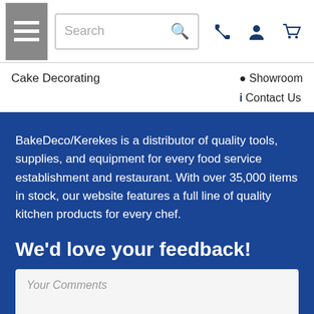Search | Showroom | Contact Us
Cake Decorating
BakeDeco/Kerekes is a distributor of quality tools, supplies, and equipment for every food service establishment and restaurant. With over 35,000 items in stock, our website features a full line of quality kitchen products for every chef.
We'd love your feedback!
Your Comments